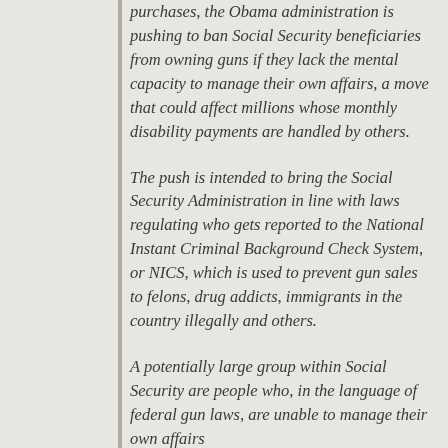purchases, the Obama administration is pushing to ban Social Security beneficiaries from owning guns if they lack the mental capacity to manage their own affairs, a move that could affect millions whose monthly disability payments are handled by others.
The push is intended to bring the Social Security Administration in line with laws regulating who gets reported to the National Instant Criminal Background Check System, or NICS, which is used to prevent gun sales to felons, drug addicts, immigrants in the country illegally and others.
A potentially large group within Social Security are people who, in the language of federal gun laws, are unable to manage their own affairs due to…